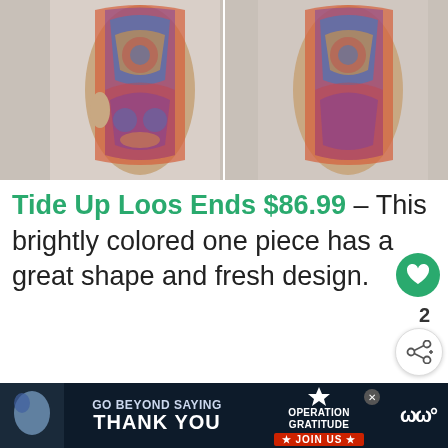[Figure (photo): Two views of a model wearing a brightly colored multicolor kaleidoscope-print one-piece swimsuit — front view on left, back view on right]
Tide Up Loos Ends $86.99 – This brightly colored one piece has a great shape and fresh design.
[Figure (photo): Two side-by-side photos of a dark-haired female model wearing swimwear, front and back views]
[Figure (infographic): Advertisement banner: GO BEYOND SAYING THANK YOU – Operation Gratitude – JOIN US]
[Figure (infographic): WHAT'S NEXT → How To Choose The...]